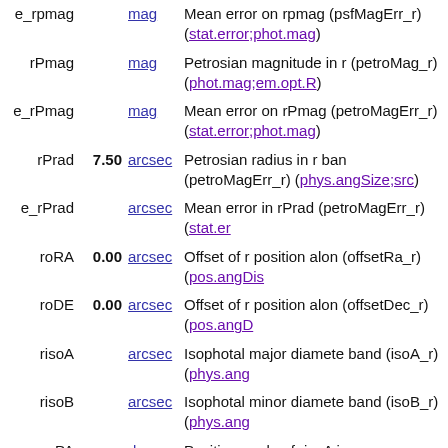| Name | Value | Unit | Description |
| --- | --- | --- | --- |
| e_rpmag |  | mag | Mean error on rpmag (psfMagErr_r) (stat.error;phot.mag) |
| rPmag |  | mag | Petrosian magnitude in r (petroMag_r) (phot.mag;em.opt.R) |
| e_rPmag |  | mag | Mean error on rPmag (petroMagErr_r) (stat.error;phot.mag) |
| rPrad | 7.50 | arcsec | Petrosian radius in r band (petroMagErr_r) (phys.angSize;src) |
| e_rPrad |  | arcsec | Mean error in rPrad (petroMagErr_r) (stat.er... |
| roRA | 0.00 | arcsec | Offset of r position along RA (offsetRa_r) (pos.angDis... |
| roDE | 0.00 | arcsec | Offset of r position along DE (offsetDec_r) (pos.angD... |
| risoA |  | arcsec | Isophotal major diameter in r band (isoA_r) (phys.ang... |
| risoB |  | arcsec | Isophotal minor diameter in r band (isoB_r) (phys.ang... |
| rPA |  | deg | Position angle of risoA i... |